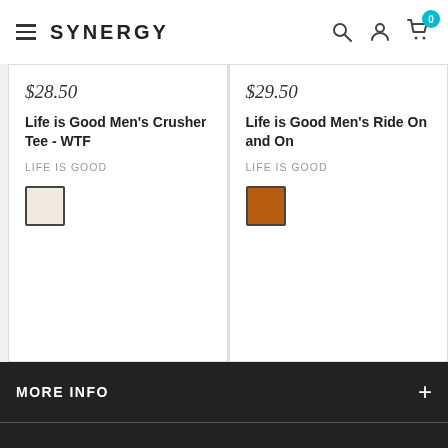SYNERGY
$28.50
Life is Good Men's Crusher Tee - WTF
LIFE IS GOOD
$29.50
Life is Good Men's Ride On and On
LIFE IS GOOD
MORE INFO